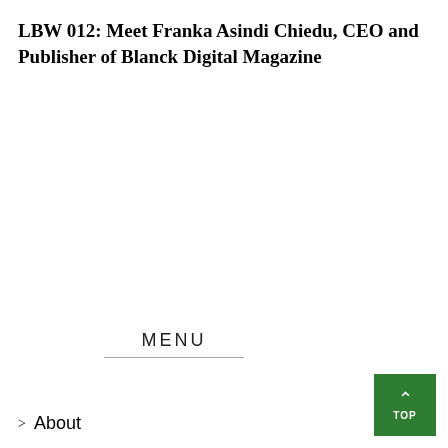LBW 012: Meet Franka Asindi Chiedu, CEO and Publisher of Blanck Digital Magazine
MENU
About